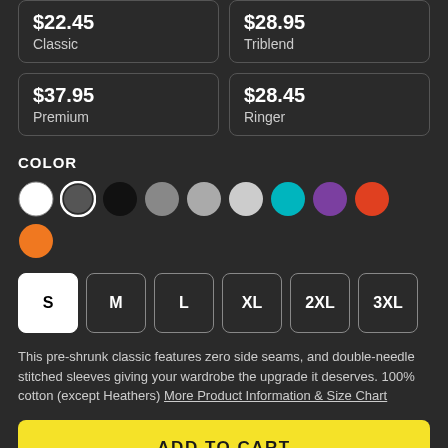$22.45 Classic
$28.95 Triblend
$37.95 Premium
$28.45 Ringer
COLOR
[Figure (other): Color swatches: white (selected), dark gray, black, medium gray, gray, light gray, teal, purple, red-orange, orange]
[Figure (other): Size selector buttons: S (selected/active), M, L, XL, 2XL, 3XL]
This pre-shrunk classic features zero side seams, and double-needle stitched sleeves giving your wardrobe the upgrade it deserves. 100% cotton (except Heathers) More Product Information & Size Chart
ADD TO CART